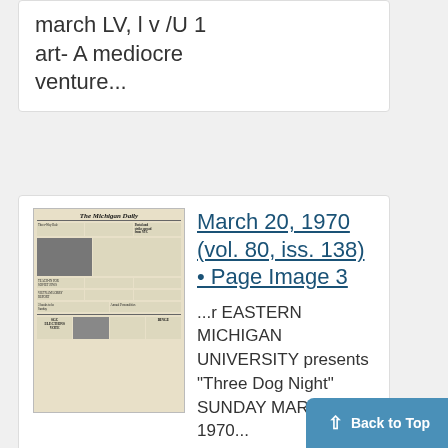march LV, l v /U 1 art- A mediocre venture...
[Figure (photo): Thumbnail image of a newspaper front page from The Michigan Daily]
March 20, 1970 (vol. 80, iss. 138) • Page Image 3
...r EASTERN MICHIGAN UNIVERSITY presents "Three Dog Night" SUNDAY MARCH 22, 1970...